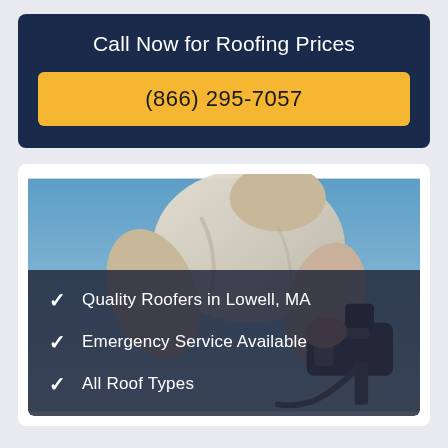Call Now for Roofing Prices
(866) 295-7057
[Figure (photo): A roofer worker on a rooftop against a blue sky, holding a nail gun tool]
Quality Roofers in Lowell, MA
Emergency Service Available
All Roof Types